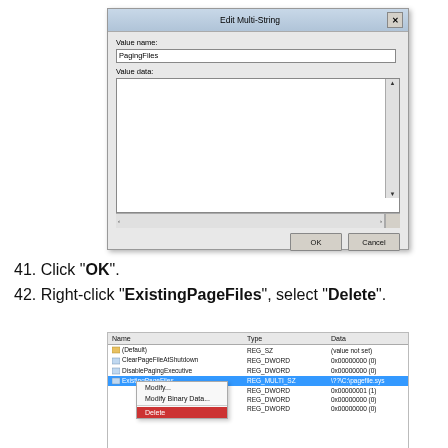[Figure (screenshot): Edit Multi-String dialog box showing Value name: PagingFiles and an empty Value data text area, with OK and Cancel buttons]
41. Click "OK".
42. Right-click "ExistingPageFiles", select "Delete".
[Figure (screenshot): Registry editor showing entries including (Default), ClearPageFileAtShutdown, DisablePagingExecutive, ExistingPageFiles (selected/highlighted), with a context menu showing Modify..., Modify Binary Data..., and Delete options]